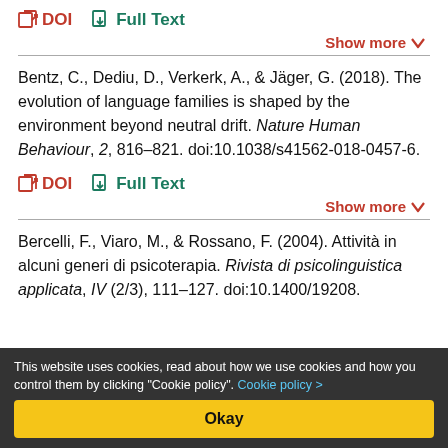DOI  Full Text
Show more
Bentz, C., Dediu, D., Verkerk, A., & Jäger, G. (2018). The evolution of language families is shaped by the environment beyond neutral drift. Nature Human Behaviour, 2, 816–821. doi:10.1038/s41562-018-0457-6.
DOI  Full Text
Show more
Bercelli, F., Viaro, M., & Rossano, F. (2004). Attività in alcuni generi di psicoterapia. Rivista di psicolinguistica applicata, IV (2/3), 111–127. doi:10.1400/19208.
This website uses cookies, read about how we use cookies and how you control them by clicking "Cookie policy". Cookie policy >
Okay